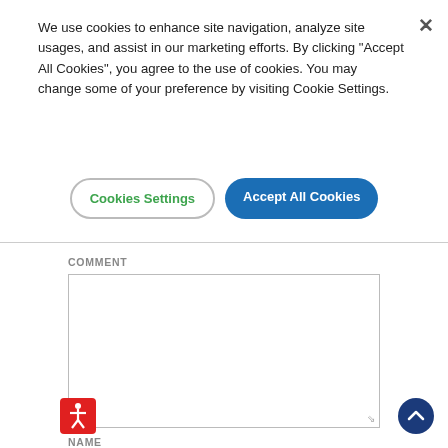We use cookies to enhance site navigation, analyze site usages, and assist in our marketing efforts. By clicking "Accept All Cookies", you agree to the use of cookies. You may change some of your preference by visiting Cookie Settings.
Cookies Settings
Accept All Cookies
COMMENT
NAME
[Figure (other): Red square accessibility icon with white stick figure]
[Figure (other): Dark blue circular scroll-to-top button with white upward chevron]